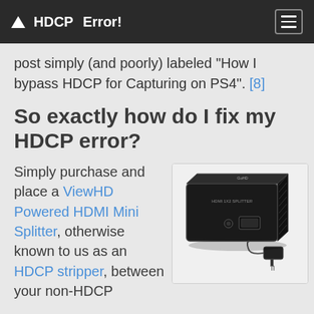△ HDCP Error!
post simply (and poorly) labeled "How I bypass HDCP for Capturing on PS4". [8]
So exactly how do I fix my HDCP error?
Simply purchase and place a ViewHD Powered HDMI Mini Splitter, otherwise known to us as an HDCP stripper, between your non-HDCP
[Figure (photo): A black HDMI 1x2 splitter device with a small power adapter/dongle next to it, branded with logo on top reading 'HDMI 1X2 SPLITTER']